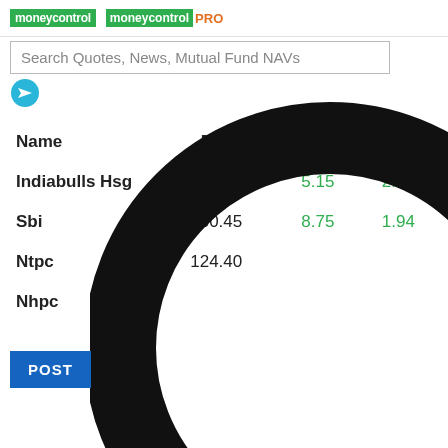moneycontrol | moneycontrolPRO
Search Quotes, News, Mutual Fund NAVs
| Name | Price | Change | % Chg |
| --- | --- | --- | --- |
| Indiabulls Hsg | 218.00 | 5.15 | 2.42 |
| Sbi | 460.45 | 8.75 | 1.94 |
| Ntpc | 124.40 |  |  |
| Nhpc |  |  |  |
POST